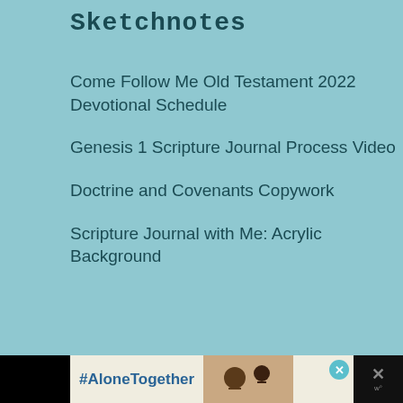Sketchnotes
Come Follow Me Old Testament 2022 Devotional Schedule
Genesis 1 Scripture Journal Process Video
Doctrine and Covenants Copywork
Scripture Journal with Me: Acrylic Background
[Figure (screenshot): #AloneTogether advertisement banner at the bottom of the page showing a man and child waving, with a close button and weather/news icons]